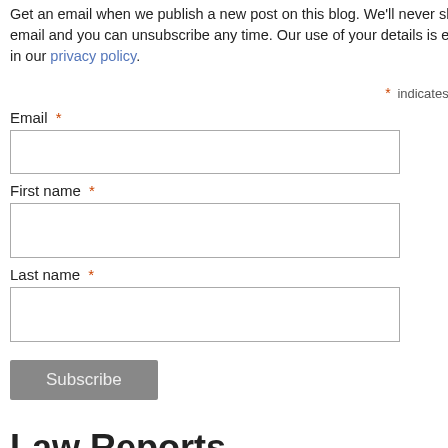Get an email when we publish a new post on this blog. We'll never share your email and you can unsubscribe any time. Our use of your details is explained in our privacy policy.
* indicates required
Email *
First name *
Last name *
Subscribe
Law Reports
Information Law Reports
Background to the disclosure applic...
Mr Dunn alleged that he had suffered... He also said he had witnessed simila... authority. His solicitors asked for disc... which Mr Dunn was entitled under se... protection grounds.
Mr Dunn made a disclosure applicatio... application in data protection terms. H... but not those of staff members and ot...
Mr Dunn said he could not pursue his... successfully against the disclosure or... CPR (this being a civil damages clai... decision.
The relevance of the DPA
The Court of appeal upheld the use o... conclusion. It said, however, that he w... application under the CPR. With such... It is potentially “misleading to refer to... position is that CPR31, read as a who... (paragraph 21).
This was not to dismiss the usefulnes...
“I do not doubt that a person in the po... an access request pursuant to sectio... attractive to prospective claimants an... before the commencement of procee... prospective claimant’s immediate nee... not expressed in terms of disclosure...